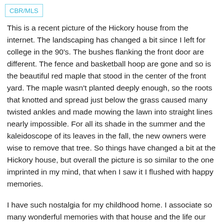CBR/MLS
This is a recent picture of the Hickory house from the internet. The landscaping has changed a bit since I left for college in the 90's. The bushes flanking the front door are different. The fence and basketball hoop are gone and so is the beautiful red maple that stood in the center of the front yard. The maple wasn't planted deeply enough, so the roots that knotted and spread just below the grass caused many twisted ankles and made mowing the lawn into straight lines nearly impossible. For all its shade in the summer and the kaleidoscope of its leaves in the fall, the new owners were wise to remove that tree. So things have changed a bit at the Hickory house, but overall the picture is so similar to the one imprinted in my mind, that when I saw it I flushed with happy memories.
I have such nostalgia for my childhood home. I associate so many wonderful memories with that house and the life our family of five had there. To my great dismay, my parents sold